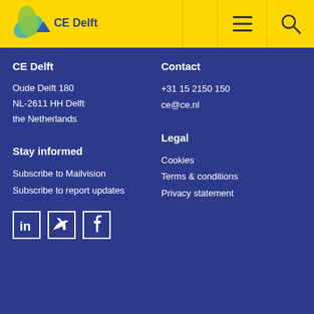[Figure (logo): CE Delft logo on yellow header bar with hamburger menu and search icons]
CE Delft
Oude Delft 180
NL-2611 HH Delft
the Netherlands
Contact
+31 15 2150 150
ce@ce.nl
Stay informed
Subscribe to Mailvision
Subscribe to report updates
Legal
Cookies
Terms & conditions
Privacy statement
[Figure (other): Social media icons: LinkedIn, Twitter, Facebook in white square outlines]